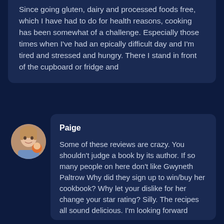Since going gluten, dairy and processed foods free, which I have had to do for health reasons, cooking has been somewhat of a challenge. Especially those times when I've had an epically difficult day and I'm tired and stressed and hungry. There I stand in front of the cupboard or fridge and
[Figure (photo): Circular avatar photo of a woman with a child/baby]
Paige
Some of these reviews are crazy. You shouldn't judge a book by its author. If so many people on here don't like Gwyneth Paltrow Why did they sign up to win/buy her cookbook? Why let your dislike for her change your star rating? Silly. The recipes all sound delicious. I'm looking forward